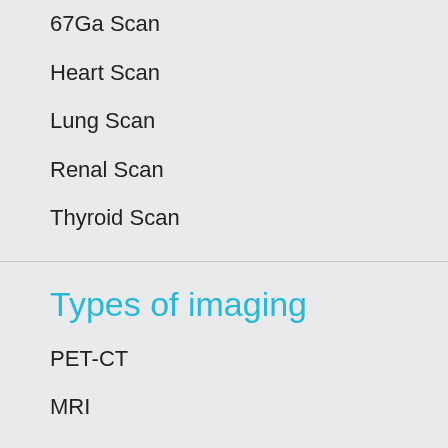67Ga Scan
Heart Scan
Lung Scan
Renal Scan
Thyroid Scan
Types of imaging
PET-CT
MRI
CT
Ultrasound
Nuclear Medicine
Cone Beam
OPG, Lat and PA Ceph